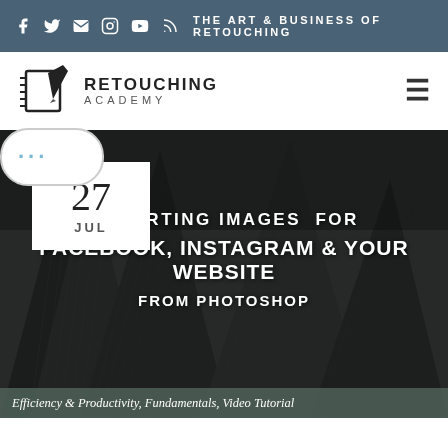THE ART & BUSINESS OF RETOUCHING
[Figure (logo): Retouching Academy logo with pen-on-notepad icon and text RETOUCHING ACADEMY]
[Figure (photo): Dark architectural photo of skyscrapers looking up, with overlaid text: EXPORTING IMAGES FOR FACEBOOK, INSTAGRAM & YOUR WEBSITE FROM PHOTOSHOP]
Efficiency & Productivity, Fundamentals, Video Tutorial